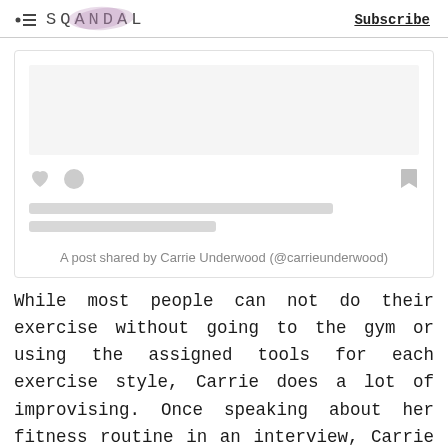SQANDAL  Subscribe
[Figure (screenshot): Embedded Instagram post card with placeholder content lines, like and comment icons on left, bookmark icon on right, and caption 'A post shared by Carrie Underwood (@carrieunderwood)']
A post shared by Carrie Underwood (@carrieunderwood)
While most people can not do their exercise without going to the gym or using the assigned tools for each exercise style, Carrie does a lot of improvising. Once speaking about her fitness routine in an interview, Carrie said,